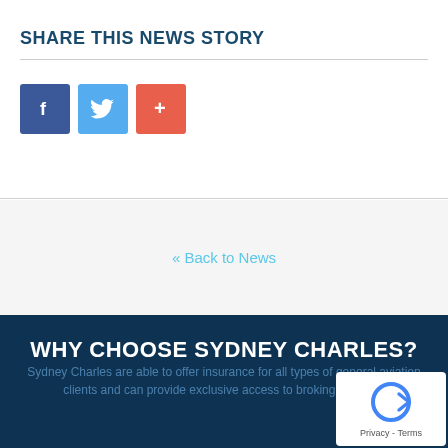SHARE THIS NEWS STORY
[Figure (infographic): Three social sharing buttons: Facebook (blue), Twitter (light blue), and a plus/share button (orange-red)]
« Back to News
WHY CHOOSE SYDNEY CHARLES?
Sydney Charles are able to offer insurance for all types of general aviation clients and can provide exclusive access to broking facilities.